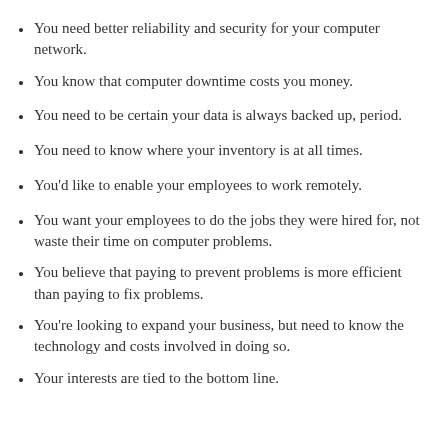You need better reliability and security for your computer network.
You know that computer downtime costs you money.
You need to be certain your data is always backed up, period.
You need to know where your inventory is at all times.
You'd like to enable your employees to work remotely.
You want your employees to do the jobs they were hired for, not waste their time on computer problems.
You believe that paying to prevent problems is more efficient than paying to fix problems.
You're looking to expand your business, but need to know the technology and costs involved in doing so.
Your interests are tied to the bottom line.